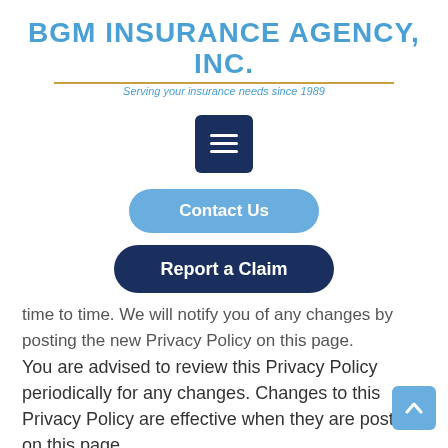BGM INSURANCE AGENCY, INC.
Serving your insurance needs since 1989
[Figure (screenshot): Dark blue square hamburger/menu button icon with three white horizontal lines]
[Figure (screenshot): Light blue rounded rectangle 'Contact Us' button]
[Figure (screenshot): Dark navy blue rounded rectangle 'Report a Claim' button]
time to time. We will notify you of any changes by posting the new Privacy Policy on this page. You are advised to review this Privacy Policy periodically for any changes. Changes to this Privacy Policy are effective when they are posted on this page.